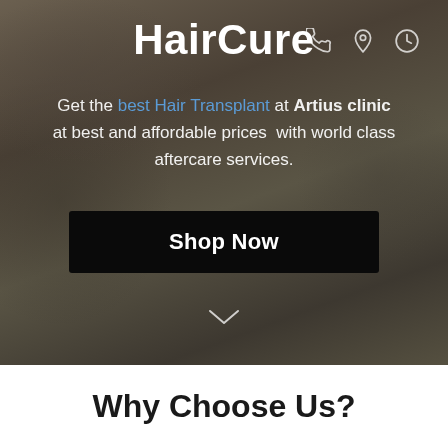[Figure (photo): Blurred hero background image of a person with dark/brown tones, used as a website landing page background for HairCure clinic.]
HairCure
Get the best Hair Transplant at Artius clinic at best and affordable prices  with world class aftercare services.
Shop Now
Why Choose Us?